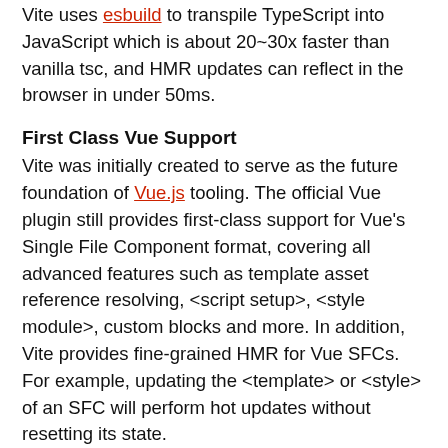Vite uses esbuild to transpile TypeScript into JavaScript which is about 20~30x faster than vanilla tsc, and HMR updates can reflect in the browser in under 50ms.
First Class Vue Support
Vite was initially created to serve as the future foundation of Vue.js tooling. The official Vue plugin still provides first-class support for Vue's Single File Component format, covering all advanced features such as template asset reference resolving, <script setup>, <style module>, custom blocks and more. In addition, Vite provides fine-grained HMR for Vue SFCs. For example, updating the <template> or <style> of an SFC will perform hot updates without resetting its state.